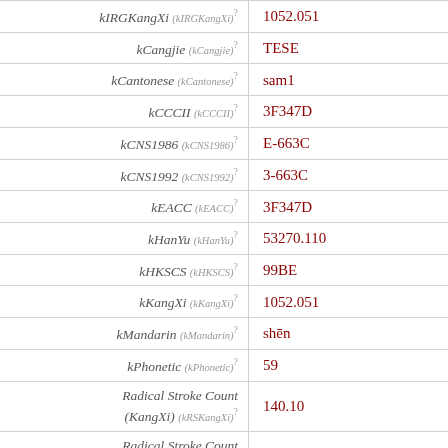| Property | Value |
| --- | --- |
| kIRGKangXi (kIRGKangXi) ? | 1052.051 |
| kCangjie (kCangjie) ? | TESE |
| kCantonese (kCantonese) ? | sam1 |
| kCCCII (kCCCII) ? | 3F347D |
| kCNS1986 (kCNS1986) ? | E-663C |
| kCNS1992 (kCNS1992) ? | 3-663C |
| kEACC (kEACC) ? | 3F347D |
| kHanYu (kHanYu) ? | 53270.110 |
| kHKSCS (kHKSCS) ? | 99BE |
| kKangXi (kKangXi) ? | 1052.051 |
| kMandarin (kMandarin) ? | shēn |
| kPhonetic (kPhonetic) ? | 59 |
| Radical Stroke Count (KangXi) (kRSKangXi) ? | 140.10 |
| Radical Stroke Count (Unicode) (kRSUnicode) ? | 140.10 |